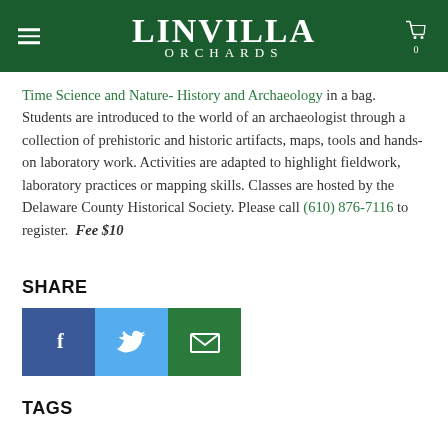Linvilla Orchards
Time Science and Nature- History and Archaeology in a bag. Students are introduced to the world of an archaeologist through a collection of prehistoric and historic artifacts, maps, tools and hands-on laboratory work. Activities are adapted to highlight fieldwork, laboratory practices or mapping skills. Classes are hosted by the Delaware County Historical Society. Please call (610) 876-7116 to register. Fee $10
SHARE
[Figure (infographic): Three social share buttons: Facebook (dark blue with f icon), Twitter (light blue with bird icon), Email (green with envelope icon)]
TAGS